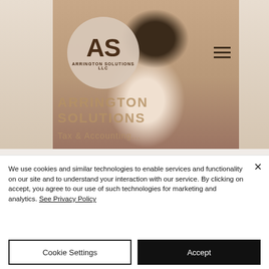[Figure (screenshot): Screenshot of Arrington Solutions LLC website homepage showing a smiling woman holding a coffee cup, with the AS logo circle overlay, hamburger menu icon, and site text 'ARRINGTON SOLUTIONS' and 'Tax & Accounting' overlaid on the photo]
We use cookies and similar technologies to enable services and functionality on our site and to understand your interaction with our service. By clicking on accept, you agree to our use of such technologies for marketing and analytics. See Privacy Policy
Cookie Settings
Accept